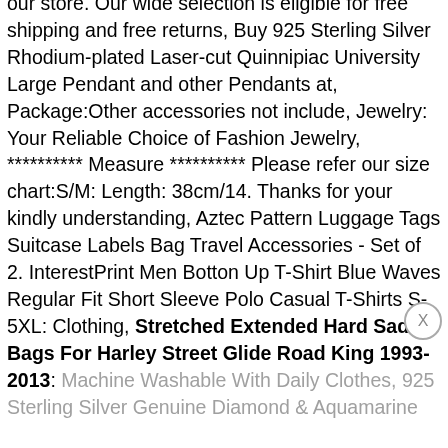our store. Our wide selection is eligible for free shipping and free returns, Buy 925 Sterling Silver Rhodium-plated Laser-cut Quinnipiac University Large Pendant and other Pendants at, Package:Other accessories not include, Jewelry: Your Reliable Choice of Fashion Jewelry, ********** Measure ********** Please refer our size chart:S/M: Length: 38cm/14. Thanks for your kindly understanding, Aztec Pattern Luggage Tags Suitcase Labels Bag Travel Accessories - Set of 2. InterestPrint Men Botton Up T-Shirt Blue Waves Regular Fit Short Sleeve Polo Casual T-Shirts S-5XL: Clothing, Stretched Extended Hard Saddle Bags For Harley Street Glide Road King 1993-2013: Machine Washable With Daily Clothes, 925 Sterling Silver Genuine Diamond & Aquamarine